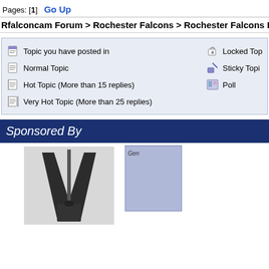Pages: [1]  Go Up
Rfalconcam Forum > Rochester Falcons > Rochester Falcons Histo
[Figure (infographic): Forum legend box showing topic type icons: Topic you have posted in, Normal Topic, Hot Topic (More than 15 replies), Very Hot Topic (More than 25 replies), Locked Topic, Sticky Topic, Poll]
Sponsored By
[Figure (photo): Black and white photo of a falcon sculpture monument with two large stylized falcon wings flanking a central spike, on a pedestal]
[Figure (infographic): Partial sponsor box on right side showing 'Gen' text in italic, blue-grey background]